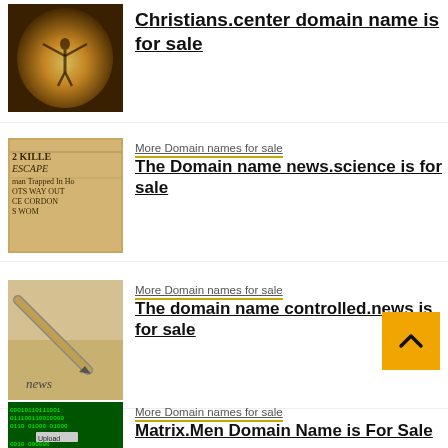[Figure (photo): Person with arms raised against bright golden backlight]
Christians.center domain name is for sale
[Figure (photo): Newspaper headline with '2 KILLED ESCAPED man Trapped In Ho, OTS WAY OUT, CE CORDON, S WOM']
More Domain names for sale
The Domain name news.science is for sale
[Figure (photo): Fountain pen resting on paper with word 'news' written]
More Domain names for sale
The domain name controlled.news is for sale
[Figure (photo): Green binary code matrix display with Upload and Search buttons]
More Domain names for sale
Matrix.Men Domain Name is For Sale